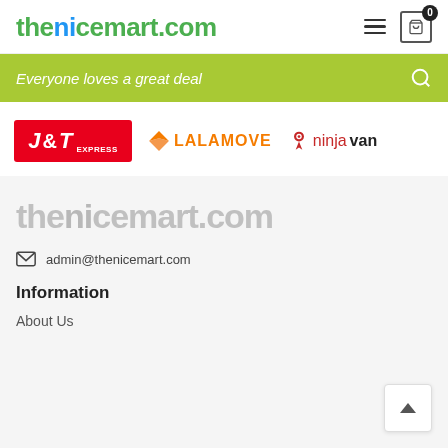thenicemart.com
Everyone loves a great deal
[Figure (logo): J&T Express, Lalamove, and NinjaVan courier logos displayed in a row]
[Figure (logo): thenicemart.com footer logo in grey]
admin@thenicemart.com
Information
About Us